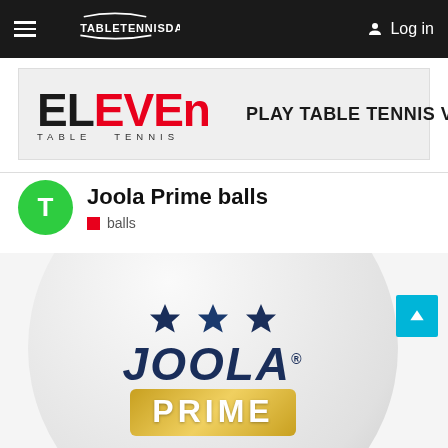TableTennisDaily — Log in
[Figure (screenshot): Eleven Table Tennis VR advertisement banner with logo and tagline PLAY TABLE TENNIS VR]
Joola Prime balls
balls
[Figure (photo): Close-up photo of a Joola Prime table tennis ball showing three blue stars, JOOLA brand name, and PRIME text on a gold crest background]